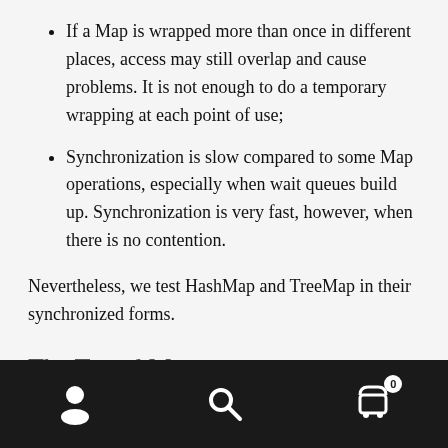If a Map is wrapped more than once in different places, access may still overlap and cause problems. It is not enough to do a temporary wrapping at each point of use;
Synchronization is slow compared to some Map operations, especially when wait queues build up. Synchronization is very fast, however, when there is no contention.
Nevertheless, we test HashMap and TreeMap in their synchronized forms.
The Tested Maps